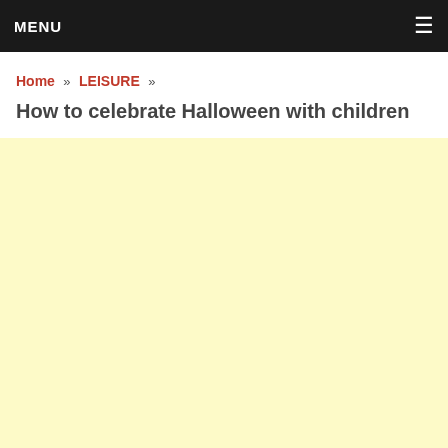MENU
Home » LEISURE » How to celebrate Halloween with children
How to celebrate Halloween with children
[Figure (other): Light yellow/cream colored content area placeholder]